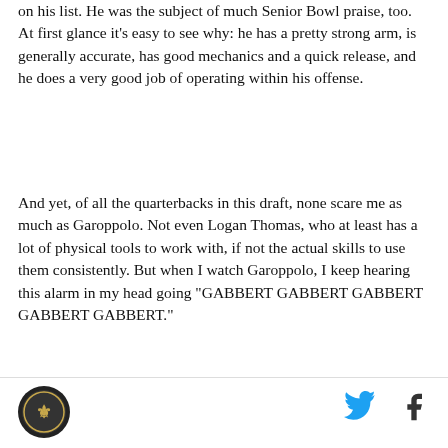on his list. He was the subject of much Senior Bowl praise, too. At first glance it's easy to see why: he has a pretty strong arm, is generally accurate, has good mechanics and a quick release, and he does a very good job of operating within his offense.
And yet, of all the quarterbacks in this draft, none scare me as much as Garoppolo. Not even Logan Thomas, who at least has a lot of physical tools to work with, if not the actual skills to use them consistently. But when I watch Garoppolo, I keep hearing this alarm in my head going "GABBERT GABBERT GABBERT GABBERT GABBERT."